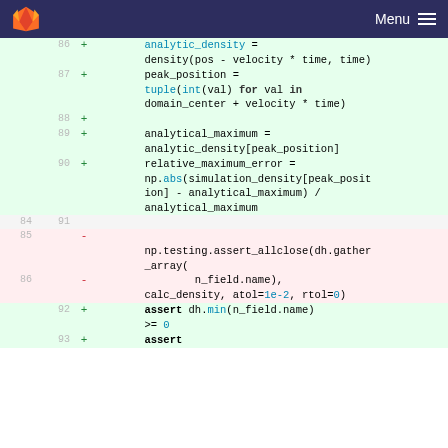Menu
[Figure (screenshot): Git diff view showing code changes in a Python file. Lines 86-93 are shown. Green (added) lines show new code for analytic_density, peak_position, analytical_maximum, relative_maximum_error calculations and assert statements. Red (removed) lines show old np.testing.assert_allclose call with n_field.name, calc_density, atol=1e-2, rtol=0 parameters.]